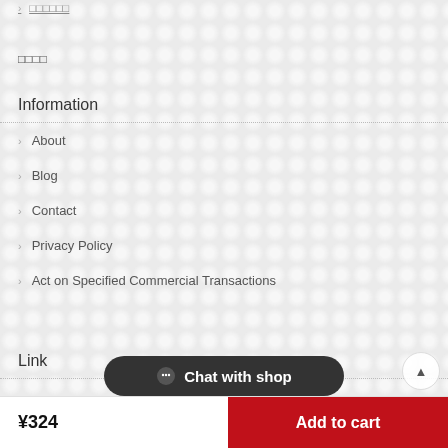（truncated link text）
□□□□
Information
> About
> Blog
> Contact
> Privacy Policy
> Act on Specified Commercial Transactions
Link
Chat with shop
¥324   Add to cart